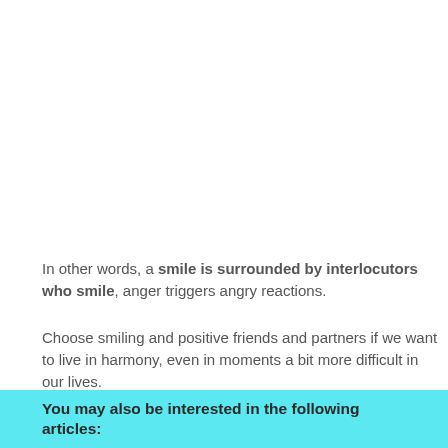In other words, a smile is surrounded by interlocutors who smile, anger triggers angry reactions.
Choose smiling and positive friends and partners if we want to live in harmony, even in moments a bit more difficult in our lives.
You may also be interested in the following articles: